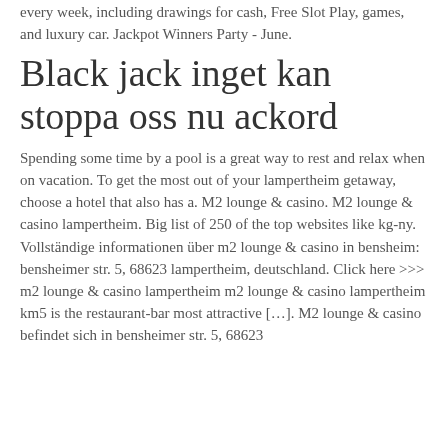every week, including drawings for cash, Free Slot Play, games, and luxury car. Jackpot Winners Party - June.
Black jack inget kan stoppa oss nu ackord
Spending some time by a pool is a great way to rest and relax when on vacation. To get the most out of your lampertheim getaway, choose a hotel that also has a. M2 lounge &amp; casino. M2 lounge &amp; casino lampertheim. Big list of 250 of the top websites like kg-ny. Vollständige informationen über m2 lounge &amp; casino in bensheim: bensheimer str. 5, 68623 lampertheim, deutschland. Click here &gt;&gt;&gt; m2 lounge &amp; casino lampertheim m2 lounge &amp; casino lampertheim km5 is the restaurant-bar most attractive […]. M2 lounge &amp; casino befindet sich in bensheimer str. 5, 68623